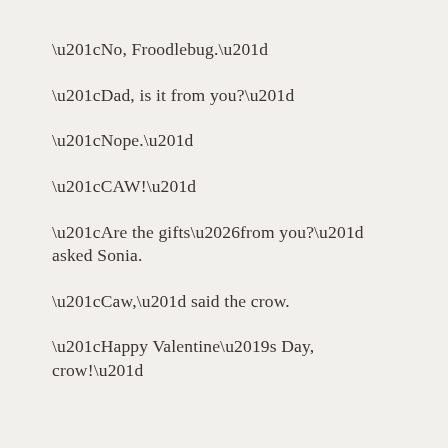“No, Froodlebug.”
“Dad, is it from you?”
“Nope.”
“CAW!”
“Are the gifts…from you?” asked Sonia.
“Caw,” said the crow.
“Happy Valentine’s Day, crow!”